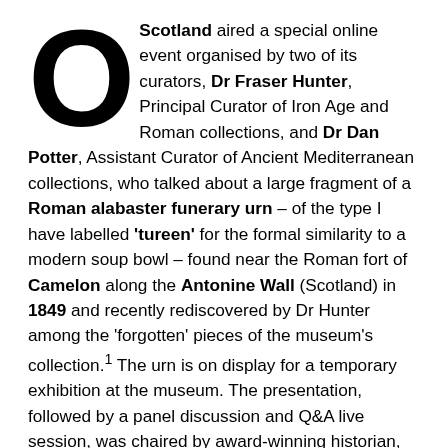O Scotland aired a special online event organised by two of its curators, Dr Fraser Hunter, Principal Curator of Iron Age and Roman collections, and Dr Dan Potter, Assistant Curator of Ancient Mediterranean collections, who talked about a large fragment of a Roman alabaster funerary urn – of the type I have labelled 'tureen' for the formal similarity to a modern soup bowl – found near the Roman fort of Camelon along the Antonine Wall (Scotland) in 1849 and recently rediscovered by Dr Hunter among the 'forgotten' pieces of the museum's collection.¹ The urn is on display for a temporary exhibition at the museum. The presentation, followed by a panel discussion and Q&A live session, was chaired by award-winning historian, author and broadcaster Professor Bettany Hughes. The lecture was great! The fact that it was a free online event and people from all over the world could take part showed how, in times like these,